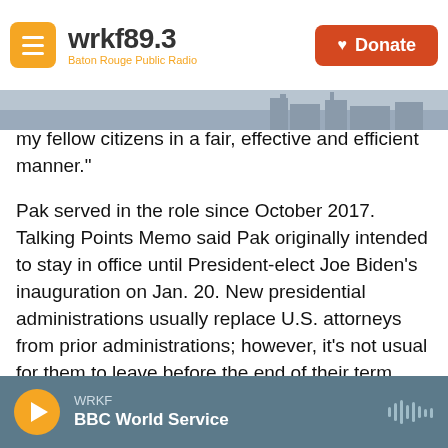wrkf89.3 Baton Rouge Public Radio | Donate
my fellow citizens in a fair, effective and efficient manner."
Pak served in the role since October 2017. Talking Points Memo said Pak originally intended to stay in office until President-elect Joe Biden's inauguration on Jan. 20. New presidential administrations usually replace U.S. attorneys from prior administrations; however, it's not usual for them to leave before the end of their term.
Pak, who was born in South Korea, immigrated to the U.S. when he was 9. As U.S. attorney, the Justice Department said his office increased the
WRKF | BBC World Service